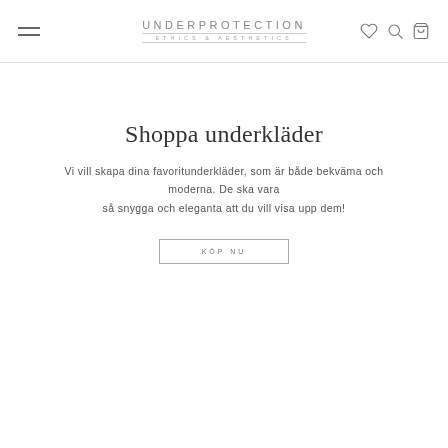[Figure (logo): Underprotection brand logo with text UNDERPROTECTION and subtitle ETHICS & AESTHETICS]
Shoppa underkläder
Vi vill skapa dina favoritunderkläder, som är både bekväma och moderna. De ska vara så snygga och eleganta att du vill visa upp dem!
KÖP NU